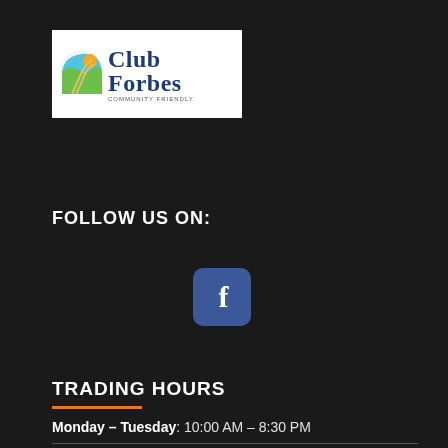[Figure (logo): Club Forbes Community Friendly logo with colorful arc/road icon and blue serif text]
FOLLOW US ON:
[Figure (other): Facebook icon button — blue rounded square with white letter f]
TRADING HOURS
Monday – Tuesday: 10:00 AM – 8:30 PM
Wednesday – Thursday: 10:00 AM – 10:00 PM